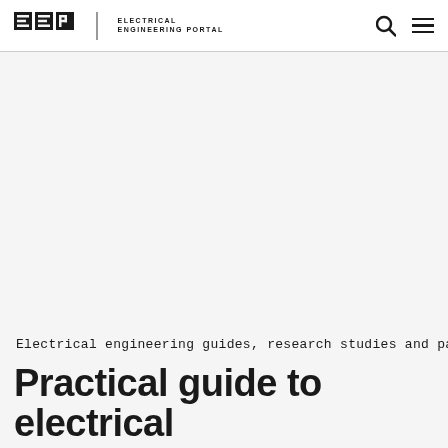EEP — ELECTRICAL ENGINEERING PORTAL
Electrical engineering guides, research studies and papers
Practical guide to electrical